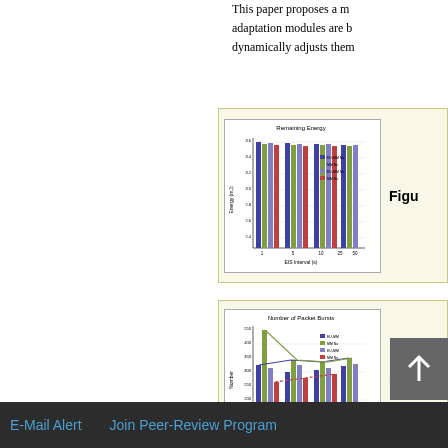This paper proposes a m... adaptation modules are b... dynamically adjusts them...
[Figure (bar-chart): Bar chart showing remaining energy vs EIS interval for multiple series: EU-MM No, MM No, EU-MM No, MM No]
Figu
[Figure (bar-chart): Bar chart showing number of packet bursts vs EIS interval for multiple series]
Figu
Top
ABSTRACT
Introduction
Enhanced Mobility Management Approach
Rate Adaptation Algorithm
Evaluation of the Approach
E-Mail Alert    Join Peer-Review Program